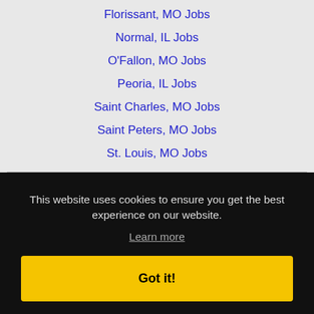Florissant, MO Jobs
Normal, IL Jobs
O'Fallon, MO Jobs
Peoria, IL Jobs
Saint Charles, MO Jobs
Saint Peters, MO Jobs
St. Louis, MO Jobs
This website uses cookies to ensure you get the best experience on our website.
Learn more
Got it!
[Figure (logo): Authorize.Net logo]